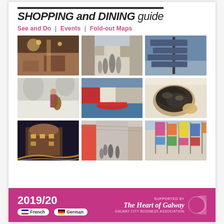SHOPPING and DINING guide
See and Do | Events | Fold-out Maps
[Figure (photo): Nine photos of Galway city in a 3x3 grid: street market with musicians, pedestrian shopping street, directional signpost, street musician with cello (black and white), red boat on river with colourful buildings, bowl of mussels/seafood, illuminated building at night, busy shopping street daytime, colourful flags on shopping street]
2019/20
French  German
SUPPORTED BY The Heart of Galway GALWAY CITY BUSINESS ASSOCIATION